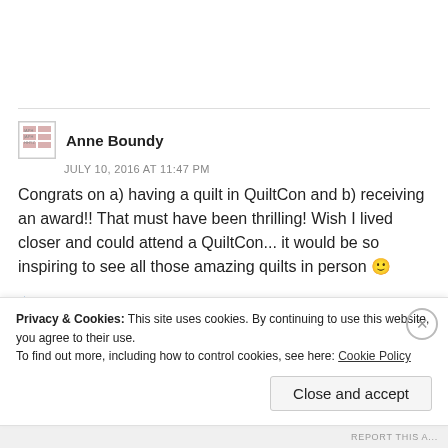Anne Boundy
JULY 10, 2016 AT 11:47 PM
Congrats on a) having a quilt in QuiltCon and b) receiving an award!! That must have been thrilling! Wish I lived closer and could attend a QuiltCon... it would be so inspiring to see all those amazing quilts in person 🙂
Liked by 1 person
Privacy & Cookies: This site uses cookies. By continuing to use this website, you agree to their use.
To find out more, including how to control cookies, see here: Cookie Policy
Close and accept